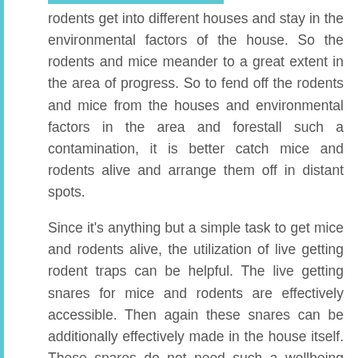rodents get into different houses and stay in the environmental factors of the house. So the rodents and mice meander to a great extent in the area of progress. So to fend off the rodents and mice from the houses and environmental factors in the area and forestall such a contamination, it is better catch mice and rodents alive and arrange them off in distant spots.
Since it's anything but a simple task to get mice and rodents alive, the utilization of live getting rodent traps can be helpful. The live getting snares for mice and rodents are effectively accessible. Then again these snares can be additionally effectively made in the house itself. These snares do not need such a wellbeing precautionary measures when contrasted